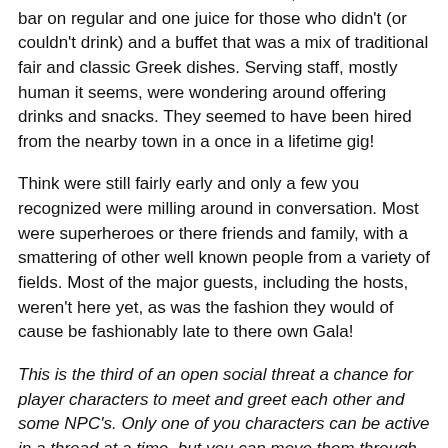touches of Ancient Greece thrown in, there was two bar on regular and one juice for those who didn't (or couldn't drink) and a buffet that was a mix of traditional fair and classic Greek dishes. Serving staff, mostly human it seems, were wondering around offering drinks and snacks. They seemed to have been hired from the nearby town in a once in a lifetime gig!
Think were still fairly early and only a few you recognized were milling around in conversation. Most were superheroes or there friends and family, with a smattering of other well known people from a variety of fields. Most of the major guests, including the hosts, weren't here yet, as was the fashion they would of cause be fashionably late to there own Gala!
This is the third of an open social threat a chance for player characters to meet and greet each other and some NPC's. Only one of you characters can be active in a thread at a time, but you can move them through the threads as to have one in each at a time. If you want to spend more time focused on something you are welcome to spin off into another thread, or a vignette or even ten questions!